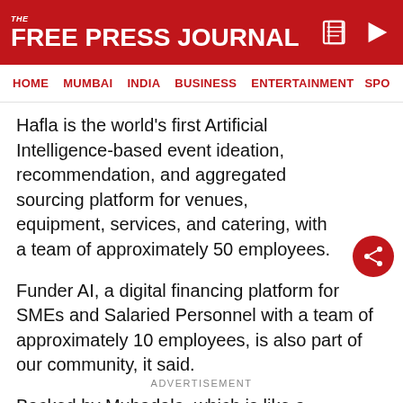THE FREE PRESS JOURNAL
HOME  MUMBAI  INDIA  BUSINESS  ENTERTAINMENT  SPO
Hafla is the world’s first Artificial Intelligence-based event ideation, recommendation, and aggregated sourcing platform for venues, equipment, services, and catering, with a team of approximately 50 employees.
Funder AI, a digital financing platform for SMEs and Salaried Personnel with a team of approximately 10 employees, is also part of our community, it said.
Backed by Mubadala, which is like a sovereign wealth f...
ADVERTISEMENT